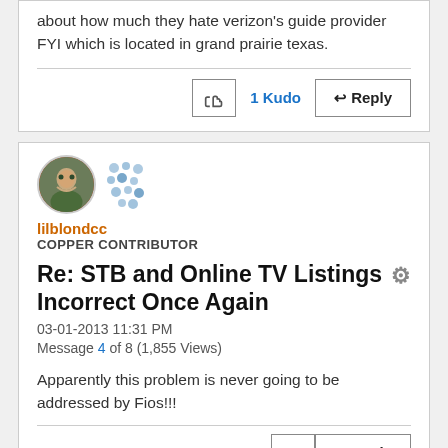about how much they hate verizon's guide provider FYI which is located in grand prairie texas.
1 Kudo
Reply
[Figure (illustration): User avatar for lilblondcc showing a person's photo]
[Figure (illustration): Copper contributor badge dots icon]
lilblondcc
COPPER CONTRIBUTOR
Re: STB and Online TV Listings Incorrect Once Again
03-01-2013 11:31 PM
Message 4 of 8 (1,855 Views)
Apparently this problem is never going to be addressed by Fios!!!